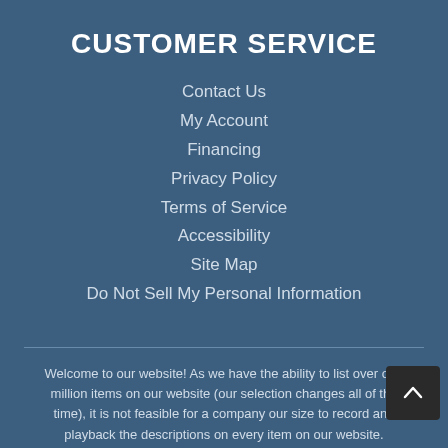CUSTOMER SERVICE
Contact Us
My Account
Financing
Privacy Policy
Terms of Service
Accessibility
Site Map
Do Not Sell My Personal Information
Welcome to our website! As we have the ability to list over one million items on our website (our selection changes all of the time), it is not feasible for a company our size to record and playback the descriptions on every item on our website. However, if you have a disability we are here to help you. Please call our disability services phone line at 360-336-3007 during regular business hours and one of our kind and friendly personal shoppers will help you navigate through our website, help conduct advanced searches, help you choose the item you are looking for with the specifications you are seeking, read you the specifications of any item and consult with you about